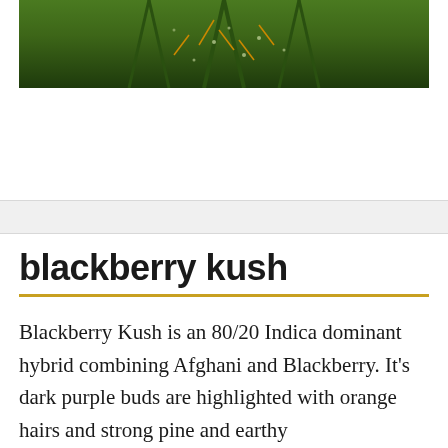[Figure (photo): Close-up photograph of cannabis plant with dark green leaves showing orange hairs and dense bud structure]
blackberry kush
Blackberry Kush is an 80/20 Indica dominant hybrid combining Afghani and Blackberry. It’s dark purple buds are highlighted with orange hairs and strong pine and earthy smells.Blackberry Kush gives you a great body high